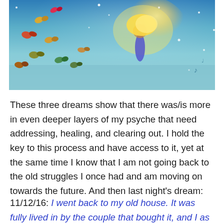[Figure (illustration): A colorful painting of a figure surrounded by butterflies and sparkles against a blue background, with golden glowing energy emanating from the figure.]
These three dreams show that there was/is more in even deeper layers of my psyche that need addressing, healing, and clearing out. I hold the key to this process and have access to it, yet at the same time I know that I am not going back to the old struggles I once had and am moving on towards the future. And then last night's dream:
11/12/16: I went back to my old house. It was fully lived in by the couple that bought it, and I as aware that it was no longer my home. I had come in through the back. At first I